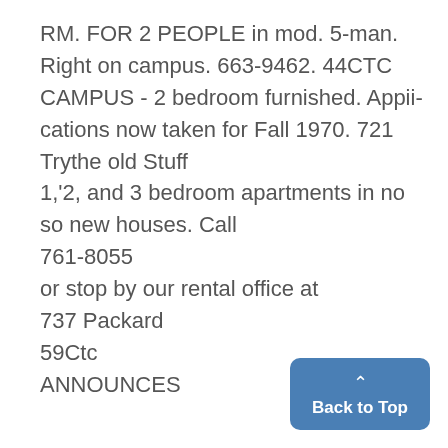RM. FOR 2 PEOPLE in mod. 5-man. Right on campus. 663-9462. 44CTC CAMPUS - 2 bedroom furnished. Appii-cations now taken for Fall 1970. 721 Trythe old Stuff 1,'2, and 3 bedroom apartments in no so new houses. Call 761-8055 or stop by our rental office at 737 Packard 59Ctc ANNOUNCES